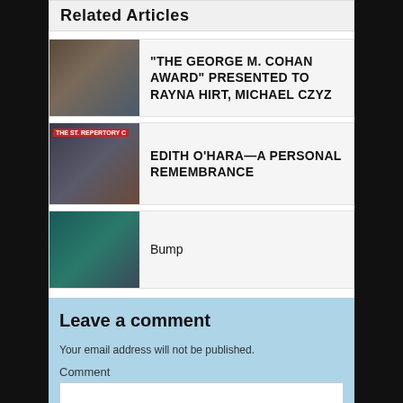Related Articles
“THE GEORGE M. COHAN AWARD” PRESENTED TO RAYNA HIRT, MICHAEL CZYZ
EDITH O’HARA—A PERSONAL REMEMBRANCE
Bump
Leave a comment
Your email address will not be published.
Comment